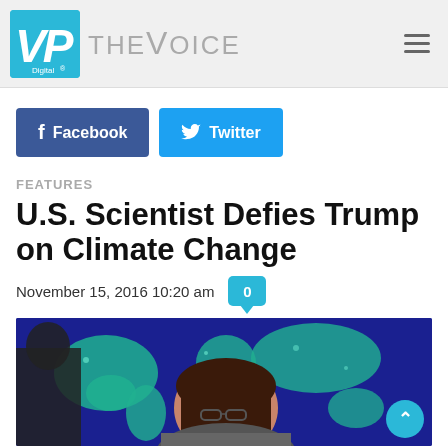VP Digital The Voice
Facebook  Twitter
FEATURES
U.S. Scientist Defies Trump on Climate Change
November 15, 2016 10:20 am  0
[Figure (photo): Woman with glasses smiling in front of a large blue globe/world map illustration]